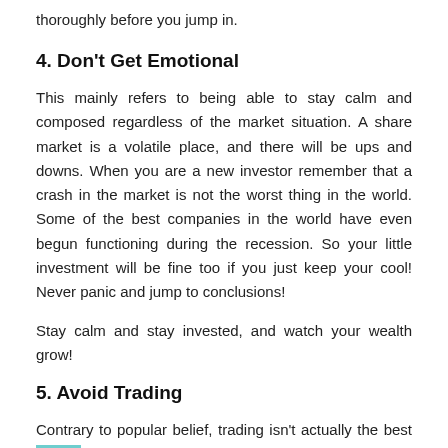thoroughly before you jump in.
4. Don't Get Emotional
This mainly refers to being able to stay calm and composed regardless of the market situation. A share market is a volatile place, and there will be ups and downs. When you are a new investor remember that a crash in the market is not the worst thing in the world. Some of the best companies in the world have even begun functioning during the recession. So your little investment will be fine too if you just keep your cool! Never panic and jump to conclusions!
Stay calm and stay invested, and watch your wealth grow!
5. Avoid Trading
Contrary to popular belief, trading isn't actually the best way to make more money. While it is one way to earn some money in